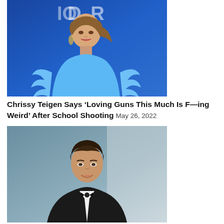[Figure (photo): Chrissy Teigen wearing a light blue feathered outfit standing in front of a blue background with partial text visible]
Chrissy Teigen Says ‘Loving Guns This Much Is F—ing Weird’ After School Shooting May 26, 2022
[Figure (photo): Young man with short brown hair wearing a black tuxedo with bow tie, smiling, against a blurred teal/grey background]